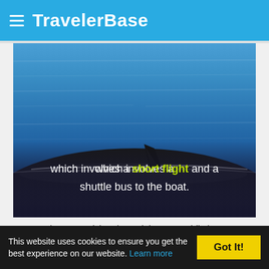TravelerBase
[Figure (photo): A whale (humpback) partially surfacing in blue ocean water, with dorsal fin visible above the surface. Text overlay reads: 'which involves a short flight and a shuttle bus to the boat.']
Top 10 Places To Visit In | Dominican Republic | Best Places To Visit In Dominican Republic Video
This website uses cookies to ensure you get the best experience on our website. Learn more